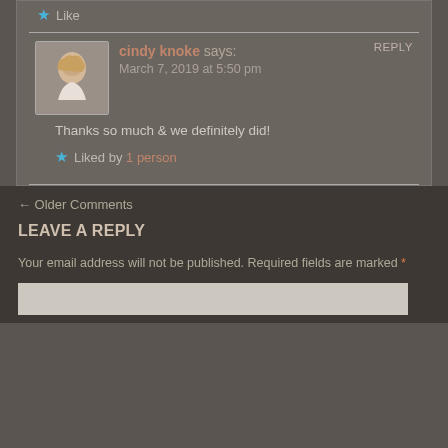Like
REPLY
cindy knoke says:
March 7, 2019 at 5:50 pm
Thanks so much & we definitely did!
Liked by 1 person
← Older Comments
LEAVE A REPLY
Your email address will not be published. Required fields are marked *